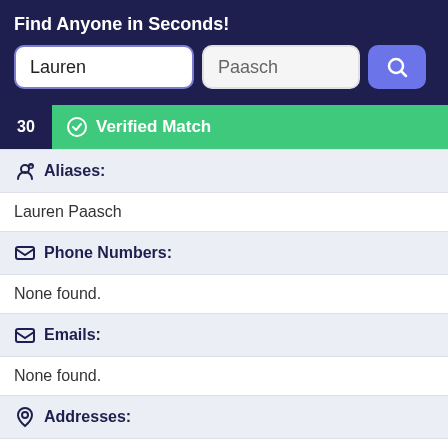Find Anyone in Seconds!
[Figure (screenshot): Search interface with two input fields showing 'Lauren' and 'Paasch' and a blue search button]
30  Verified Match
Aliases:
Lauren Paasch
Phone Numbers:
None found.
Emails:
None found.
Addresses:
None found.
Record Overview:
There are 1 Addresses for this record, 0 phone